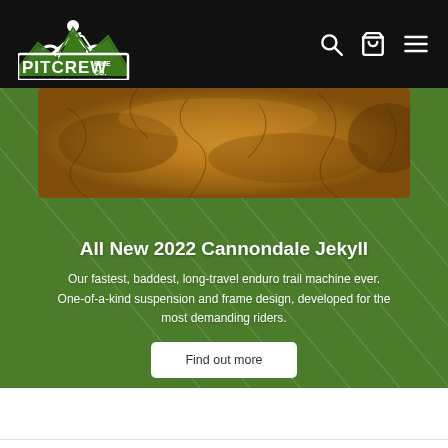Pitcrew Bike Co. — navigation header with logo, search, cart, and menu icons
[Figure (photo): Hero banner with green diagonal-striped background and dirt/trail texture photo at top. Contains headline 'All New 2022 Cannondale Jekyll', descriptive text, and a 'Find out more' button.]
All New 2022 Cannondale Jekyll
Our fastest, baddest, long-travel enduro trail machine ever. One-of-a-kind suspension and frame design, developed for the most demanding riders.
Subscribe today for the latest updates